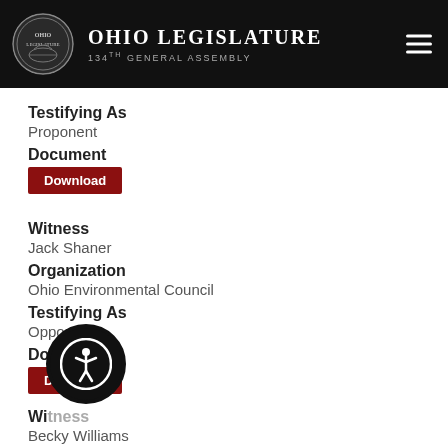Ohio Legislature 134th General Assembly
Testifying As
Proponent
Document
Download
Witness
Jack Shaner
Organization
Ohio Environmental Council
Testifying As
Opponent
Document
Download
Witness
Becky Williams